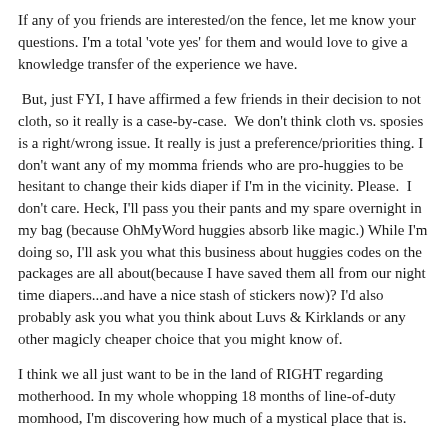If any of you friends are interested/on the fence, let me know your questions. I'm a total 'vote yes' for them and would love to give a knowledge transfer of the experience we have.
But, just FYI, I have affirmed a few friends in their decision to not cloth, so it really is a case-by-case. We don't think cloth vs. sposies is a right/wrong issue. It really is just a preference/priorities thing. I don't want any of my momma friends who are pro-huggies to be hesitant to change their kids diaper if I'm in the vicinity. Please. I don't care. Heck, I'll pass you their pants and my spare overnight in my bag (because OhMyWord huggies absorb like magic.) While I'm doing so, I'll ask you what this business about huggies codes on the packages are all about(because I have saved them all from our night time diapers...and have a nice stash of stickers now)? I'd also probably ask you what you think about Luvs & Kirklands or any other magicly cheaper choice that you might know of.
I think we all just want to be in the land of RIGHT regarding motherhood. In my whole whopping 18 months of line-of-duty momhood, I'm discovering how much of a mystical place that is.
You're doing a good job momma, regardless of how you catch your kids waste.